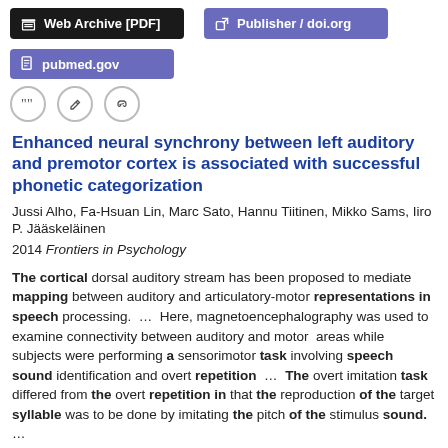Web Archive [PDF]   Publisher / doi.org   pubmed.gov
Enhanced neural synchrony between left auditory and premotor cortex is associated with successful phonetic categorization
Jussi Alho, Fa-Hsuan Lin, Marc Sato, Hannu Tiitinen, Mikko Sams, Iiro P. Jääskeläinen
2014 Frontiers in Psychology
The cortical dorsal auditory stream has been proposed to mediate mapping between auditory and articulatory-motor representations in speech processing.  ...  Here, magnetoencephalography was used to examine connectivity between auditory and motor areas while subjects were performing a sensorimotor task involving speech sound identification and overt repetition  ...  The overt imitation task differed from the overt repetition in that the reproduction of the target syllable was to be done by imitating the pitch of the stimulus sound.  ...